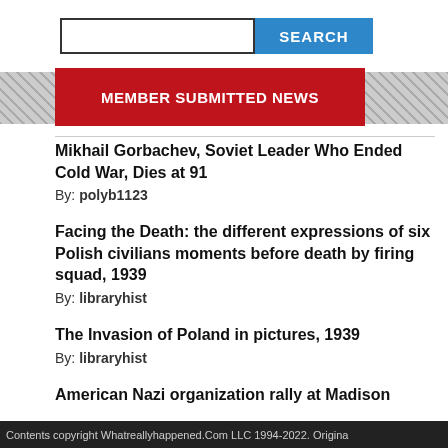[Figure (screenshot): Search input box and blue SEARCH button]
MEMBER SUBMITTED NEWS
Mikhail Gorbachev, Soviet Leader Who Ended Cold War, Dies at 91
By: polyb1123
Facing the Death: the different expressions of six Polish civilians moments before death by firing squad, 1939
By: libraryhist
The Invasion of Poland in pictures, 1939
By: libraryhist
American Nazi organization rally at Madison
Contents copyright Whatreallyhappened.Com LLC 1994-2022. Origina